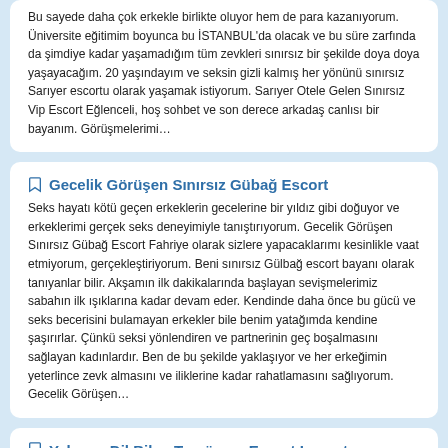Bu sayede daha çok erkekle birlikte oluyor hem de para kazanıyorum. Üniversite eğitimim boyunca bu İSTANBUL'da olacak ve bu süre zarfında da şimdiye kadar yaşamadığım tüm zevkleri sınırsız bir şekilde doya doya yaşayacağım. 20 yaşındayım ve seksin gizli kalmış her yönünü sınırsız Sarıyer escortu olarak yaşamak istiyorum. Sarıyer Otele Gelen Sınırsız Vip Escort Eğlenceli, hoş sohbet ve son derece arkadaş canlısı bir bayanım. Görüşmelerimi…
Gecelik Görüşen Sınırsız Gübağ Escort
Seks hayatı kötü geçen erkeklerin gecelerine bir yıldız gibi doğuyor ve erkeklerimi gerçek seks deneyimiyle tanıştırıyorum. Gecelik Görüşen Sınırsız Gübağ Escort Fahriye olarak sizlere yapacaklarımı kesinlikle vaat etmiyorum, gerçekleştiriyorum. Beni sınırsız Gülbağ escort bayanı olarak tanıyanlar bilir. Akşamın ilk dakikalarında başlayan sevişmelerimiz sabahın ilk ışıklarına kadar devam eder. Kendinde daha önce bu gücü ve seks becerisini bulamayan erkekler bile benim yatağımda kendine şaşırırlar. Çünkü seksi yönlendiren ve partnerinin geç boşalmasını sağlayan kadınlardır. Ben de bu şekilde yaklaşıyor ve her erkeğimin yeterlince zevk almasını ve iliklerine kadar rahatlamasını sağlıyorum. Gecelik Görüşen…
Yabancı Dil Bilen Tercüman Escort Levent
İki üniversite bitirmiş, hatta şuanda da üçüncü üniversiteye başlamış, 21